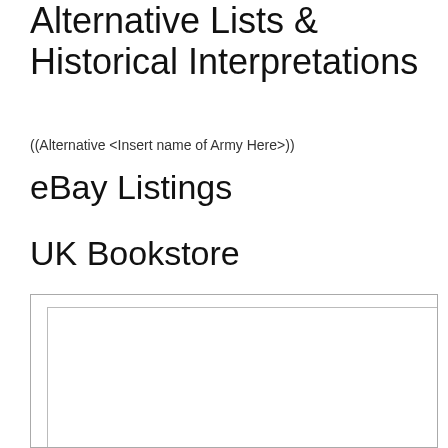Alternative Lists & Historical Interpretations
((Alternative <Insert name of Army Here>))
eBay Listings
UK Bookstore
[Figure (other): Empty white box with border, representing a content placeholder area]